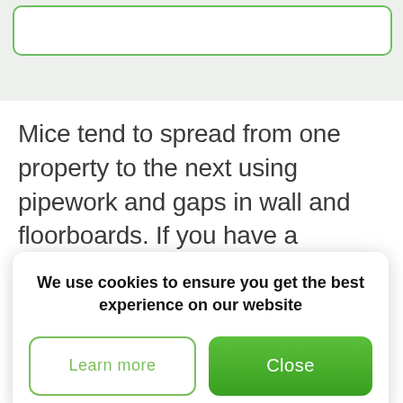[Figure (screenshot): Top gray bar with a rounded green-bordered box (partially visible UI element)]
Mice tend to spread from one property to the next using pipework and gaps in wall and floorboards. If you have a
[Figure (other): Cookie consent popup overlay with 'We use cookies to ensure you get the best experience on our website' message, a 'Learn more' outlined green button, and a 'Close' filled green button]
also travel to other areas of the home. To exterminate